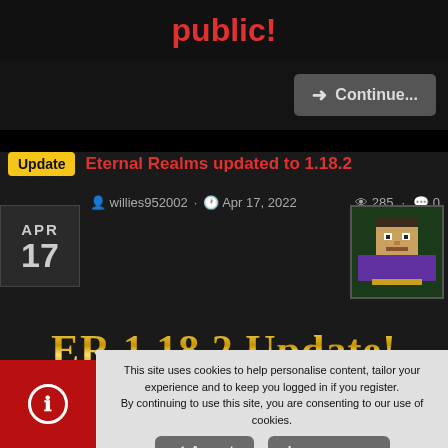public!
Continue...
Update  Eternal Realms updated to 1.18.2
willies952002 · Apr 17, 2022 · 285 · 0
APR 17
[Figure (photo): Minecraft player avatar with green background]
ER 1.18.2 Update!
This site uses cookies to help personalise content, tailor your experience and to keep you logged in if you register. By continuing to use this site, you are consenting to our use of cookies.
Accept
Learn more...